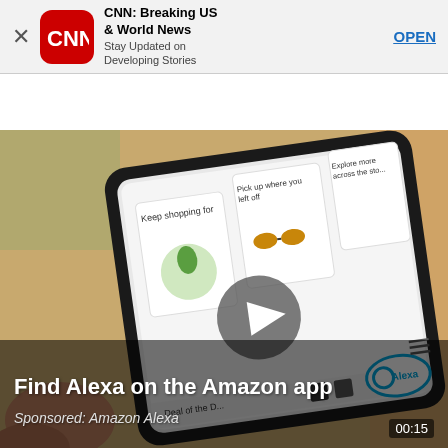[Figure (screenshot): CNN app store banner with red CNN logo icon, app title 'CNN: Breaking US & World News', subtitle 'Stay Updated on Developing Stories', and an OPEN link button. A close (X) button is on the left.]
[Figure (screenshot): Amazon Alexa video advertisement showing a hand holding a smartphone displaying the Amazon app with shopping cards (Keep shopping for, Pick up where you left off, Explore more across the store), a play button overlay in the center, Alexa logo bottom right, 'Deal of the D...' text, and overlaid text: 'Find Alexa on the Amazon app' with 'Sponsored: Amazon Alexa' and a 00:15 timer.]